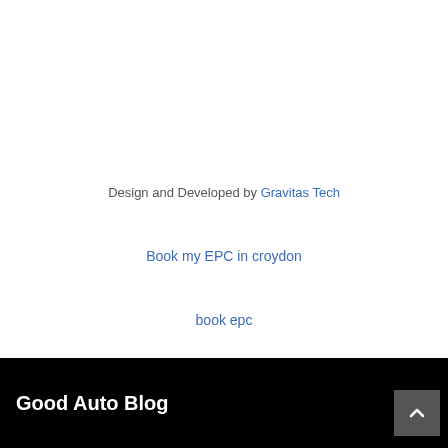Design and Developed by Gravitas Tech
Book my EPC in croydon
book epc
Good Auto Blog